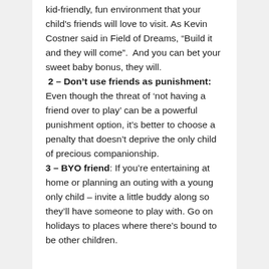kid-friendly, fun environment that your child's friends will love to visit. As Kevin Costner said in Field of Dreams, “Build it and they will come”.  And you can bet your sweet baby bonus, they will.
2 – Don’t use friends as punishment: Even though the threat of ‘not having a friend over to play’ can be a powerful punishment option, it’s better to choose a penalty that doesn’t deprive the only child of precious companionship.
3 – BYO friend: If you’re entertaining at home or planning an outing with a young only child – invite a little buddy along so they’ll have someone to play with. Go on holidays to places where there’s bound to be other children.